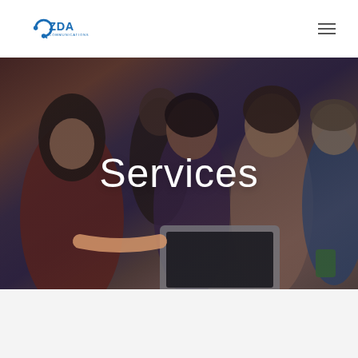[Figure (logo): ZDA Communications logo — blue headset/letter C icon with 'ZDA' in blue bold text and 'COMMUNICATIONS' in small blue text below]
[Figure (photo): Group of diverse young people gathered around a laptop in a classroom or office setting, smiling and collaborating. Dark overlay applied. Centered white text reads 'Services'.]
Services